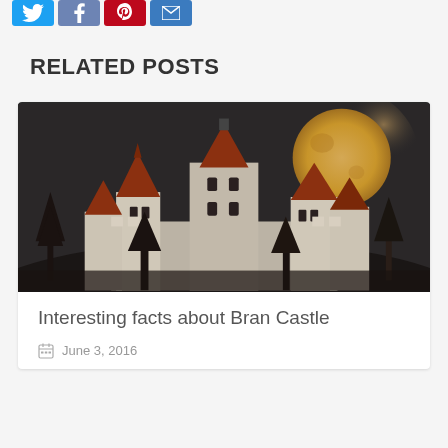[Figure (other): Social share buttons: Twitter (blue), Facebook (grey-blue), Pinterest (red), Email (blue)]
RELATED POSTS
[Figure (photo): Photo of Bran Castle at night with a large full moon in the background, against a dark dramatic sky]
Interesting facts about Bran Castle
June 3, 2016